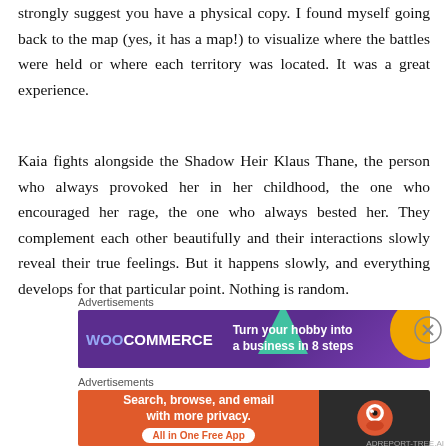strongly suggest you have a physical copy. I found myself going back to the map (yes, it has a map!) to visualize where the battles were held or where each territory was located. It was a great experience.
Kaia fights alongside the Shadow Heir Klaus Thane, the person who always provoked her in her childhood, the one who encouraged her rage, the one who always bested her. They complement each other beautifully and their interactions slowly reveal their true feelings. But it happens slowly, and everything develops for that particular point. Nothing is random.
Advertisements
[Figure (other): WooCommerce advertisement banner: 'Turn your hobby into a business in 8 steps']
Advertisements
[Figure (other): DuckDuckGo advertisement banner: 'Search, browse, and email with more privacy. All in One Free App']